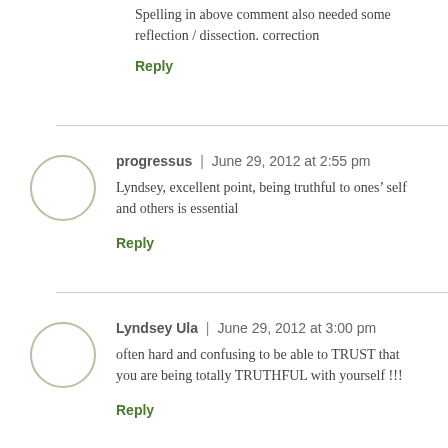Spelling in above comment also needed some reflection / dissection. correction
Reply
progressus | June 29, 2012 at 2:55 pm
Lyndsey, excellent point, being truthful to ones’ self and others is essential
Reply
Lyndsey Ula | June 29, 2012 at 3:00 pm
often hard and confusing to be able to TRUST that you are being totally TRUTHFUL with yourself !!!
Reply